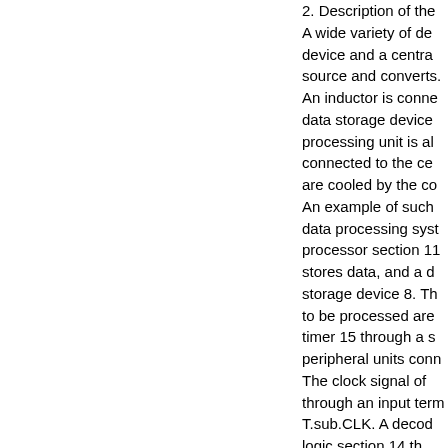2. Description of the A wide variety of device and a central source and converts. An inductor is connected data storage device processing unit is also connected to the central are cooled by the cooling. An example of such data processing system processor section 11 stores data, and a data storage device 8. The to be processed are timer 15 through a peripheral units connected. The clock signal of through an input terminal T.sub.CLK. A decoder logic section 14 through corresponding to a s